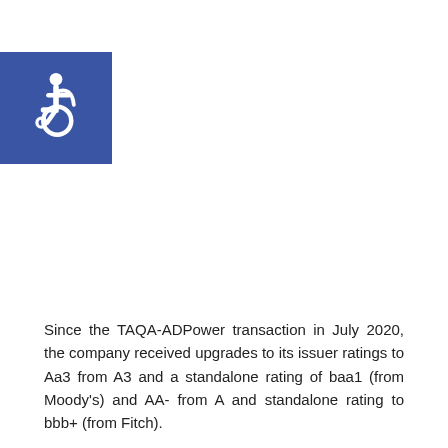[Figure (illustration): Wheelchair accessibility icon: white wheelchair symbol on a blue square background]
Since the TAQA-ADPower transaction in July 2020, the company received upgrades to its issuer ratings to Aa3 from A3 and a standalone rating of baa1 (from Moody's) and AA- from A and standalone rating to bbb+ (from Fitch).